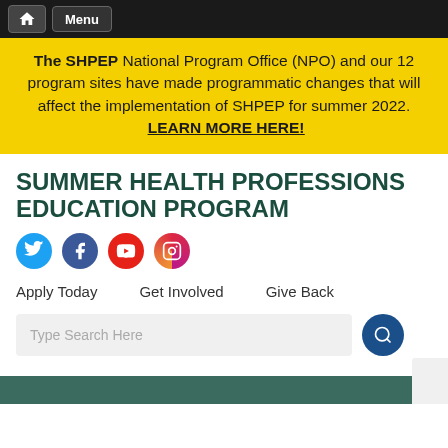Home | Menu
The SHPEP National Program Office (NPO) and our 12 program sites have made programmatic changes that will affect the implementation of SHPEP for summer 2022. LEARN MORE HERE!
SUMMER HEALTH PROFESSIONS EDUCATION PROGRAM
[Figure (infographic): Social media icons: Twitter (blue circle), Facebook (dark blue circle), YouTube (red circle), Instagram (gradient circle)]
Apply Today    Get Involved    Give Back
Type Search Here